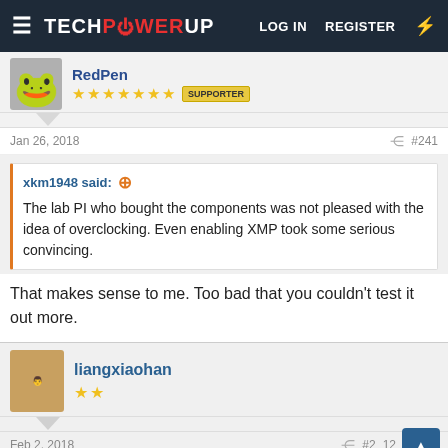TECHPOWERUP  LOG IN  REGISTER
RedPen
★★★★★★★  SUPPORTER
Jan 26, 2018  #241
xkm1948 said:  The lab PI who bought the components was not pleased with the idea of overclocking. Even enabling XMP took some serious convincing.
That makes sense to me. Too bad that you couldn't test it out more.
liangxiaohan
★★
Feb 2, 2018  #242
□